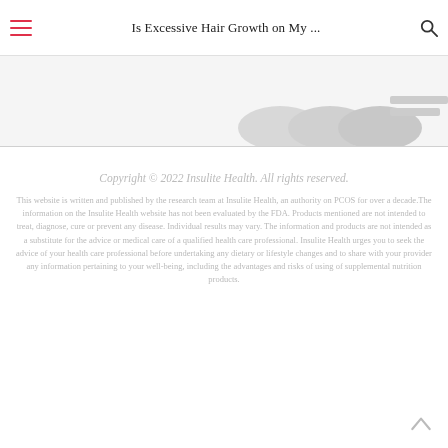Is Excessive Hair Growth on My ...
[Figure (photo): Partial view of product bottles arranged in a row against a light background, with a grey bar to the right]
Copyright © 2022 Insulite Health. All rights reserved.

This website is written and published by the research team at Insulite Health, an authority on PCOS for over a decade. The information on the Insulite Health website has not been evaluated by the FDA. Products mentioned are not intended to treat, diagnose, cure or prevent any disease. Individual results may vary. The information and products are not intended as a substitute for the advice or medical care of a qualified health care professional. Insulite Health urges you to seek the advice of your health care professional before undertaking any dietary or lifestyle changes and to share with your provider any information pertaining to your well-being, including the advantages and risks of using of supplemental nutrition products.